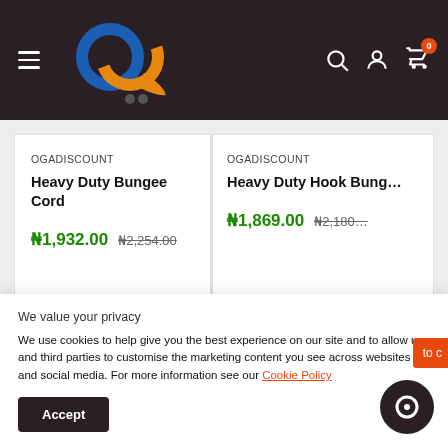[Figure (logo): OgaDiscount e-commerce site header with logo (interlocked blue and orange circles with orange swoosh), hamburger menu, search icon, user icon, cart icon with badge showing 0]
OGADISCOUNT
Heavy Duty Bungee Cord
₦1,932.00  ₦2,254.00
OGADISCOUNT
Heavy Duty Hook Bung…
₦1,869.00  ₦2,180…
We value your privacy
We use cookies to help give you the best experience on our site and to allow us and third parties to customise the marketing content you see across websites and social media. For more information see our Cookie Policy
Accept